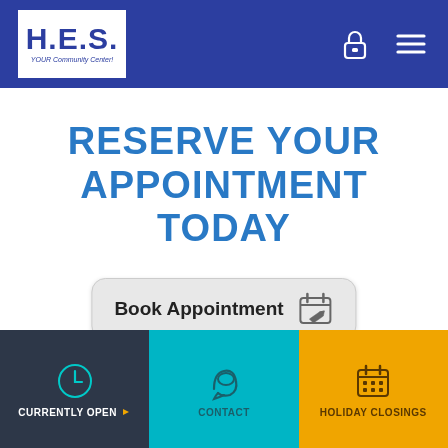H.E.S. YOUR Community Center
RESERVE YOUR APPOINTMENT TODAY
[Figure (other): Book Appointment button with calendar icon]
CURRENTLY OPEN | CONTACT | HOLIDAY CLOSINGS